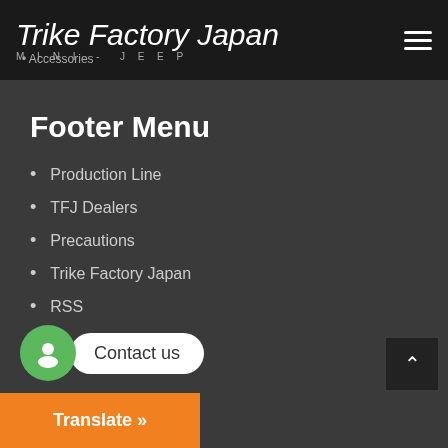Trike Factory Japan MINI-JEEP
Footer Menu
Production Line
TFJ Dealers
Precautions
Trike Factory Japan
RSS
Instagram
Contact us
Translate »